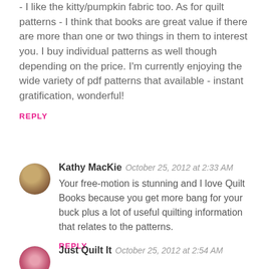- I like the kitty/pumpkin fabric too. As for quilt patterns - I think that books are great value if there are more than one or two things in them to interest you. I buy individual patterns as well though depending on the price. I'm currently enjoying the wide variety of pdf patterns that available - instant gratification, wonderful!
REPLY
[Figure (photo): Round avatar photo of Kathy MacKie, brown/tan tones]
Kathy MacKie  October 25, 2012 at 2:33 AM
Your free-motion is stunning and I love Quilt Books because you get more bang for your buck plus a lot of useful quilting information that relates to the patterns.
REPLY
[Figure (photo): Round avatar photo of Just Quilt It, pink floral tones]
Just Quilt It  October 25, 2012 at 2:54 AM